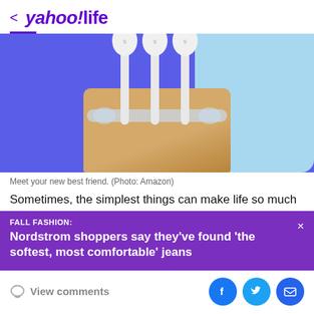< yahoo!life
[Figure (photo): Wall-mounted toothbrush holder with three white electric toothbrush heads on a wooden block against a blue background]
Meet your new best friend. (Photo: Amazon)
Sometimes, the simplest things can make life so much
FALL FASHION:
Nordstrom shoppers say they've found 'the softest, most comfortable' jeans
View comments